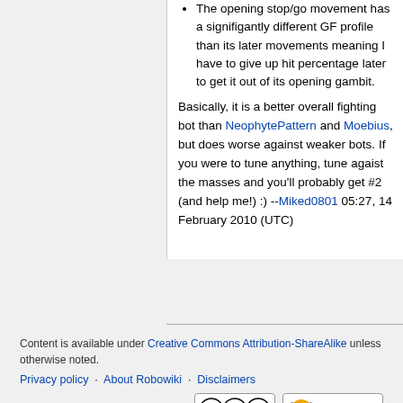The opening stop/go movement has a signifigantly different GF profile than its later movements meaning I have to give up hit percentage later to get it out of its opening gambit.
Basically, it is a better overall fighting bot than NeophytePattern and Moebius, but does worse against weaker bots. If you were to tune anything, tune agaist the masses and you'll probably get #2 (and help me!) :) --Miked0801 05:27, 14 February 2010 (UTC)
Content is available under Creative Commons Attribution-ShareAlike unless otherwise noted. Privacy policy · About Robowiki · Disclaimers